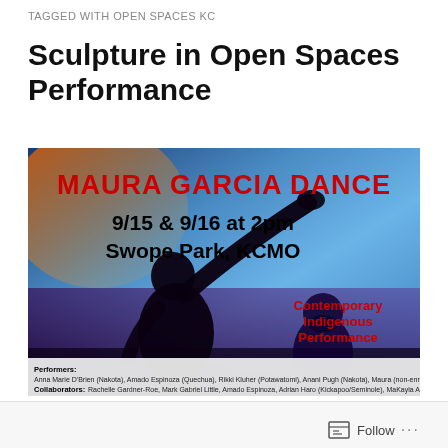TAGGED WITH OPEN SPACES KC
Sculpture in Open Spaces Performance
[Figure (photo): Promotional flyer/photo for Maura Garcia Dance performance. Dark silhouette of a dancer with arm raised against colorful blue/orange background. Text: 'MAURA GARCIA DANCE 9/15 & 9/16 at 2pm Swope Park, KCMO Contemporary Indigenous Performance'. Performers and collaborators listed at bottom.]
Follow